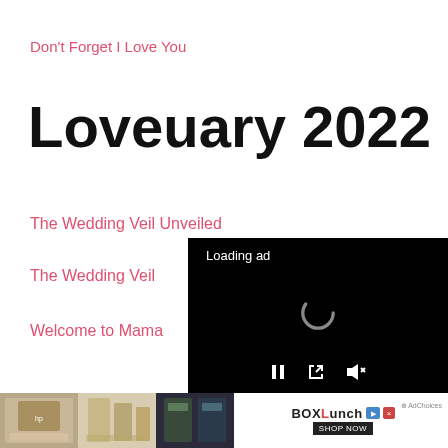Don't Forget I Love You
Loveuary 2022
The Wedding Veil Unveiled
The Wedding Veil
[Figure (screenshot): Video player overlay with Loading ad text, spinner, and playback controls (pause, fullscreen, mute) on black background]
Welcome to Mama
Spring Into Love
[Figure (infographic): BoxLunch advertisement banner with Harry Potter themed product images and BoxLunch logo with Shop Now button]